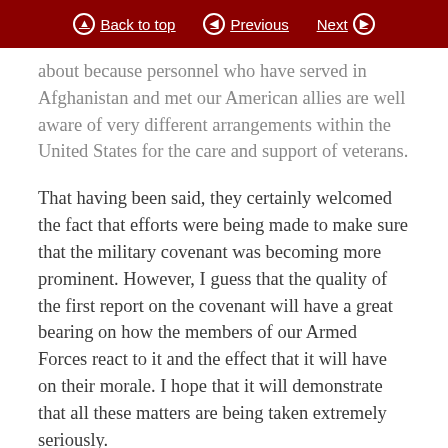Back to top | Previous | Next
about because personnel who have served in Afghanistan and met our American allies are well aware of very different arrangements within the United States for the care and support of veterans.
That having been said, they certainly welcomed the fact that efforts were being made to make sure that the military covenant was becoming more prominent. However, I guess that the quality of the first report on the covenant will have a great bearing on how the members of our Armed Forces react to it and the effect that it will have on their morale. I hope that it will demonstrate that all these matters are being taken extremely seriously.
It was very noticeable last week, and, indeed, this week, how many members of the current Armed